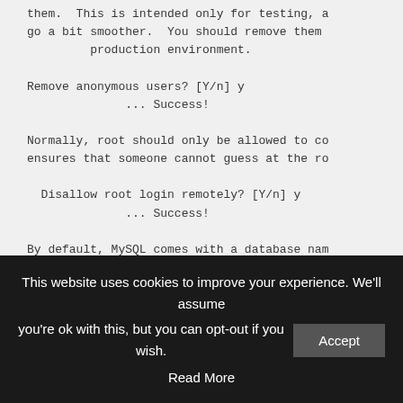them.  This is intended only for testing, and to make the installation go a bit smoother.  You should remove them before moving into a production environment.

Remove anonymous users? [Y/n] y
             ... Success!

Normally, root should only be allowed to connect from 'localhost'.  This ensures that someone cannot guess at the root password from the network.

  Disallow root login remotely? [Y/n] y
             ... Success!

By default, MySQL comes with a database named 'test' that anyone can access.  This is also intended only for testing, and should be removed before moving into a production environment.

Remove test database and access to it? [Y/n
         - Dropping test database...
This website uses cookies to improve your experience. We'll assume you're ok with this, but you can opt-out if you wish. Accept Read More